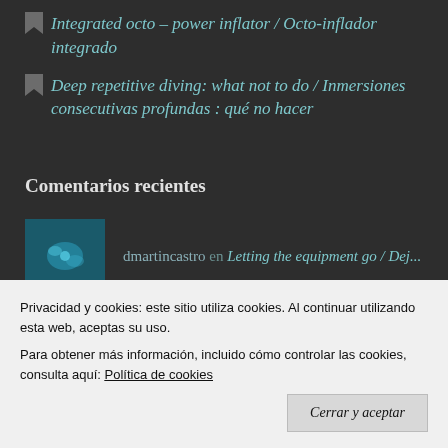Integrated octo – power inflator / Octo-inflador integrado
Deep repetitive diving: what not to do / Inmersiones consecutivas profundas : qué no hacer
Comentarios recientes
dmartincastro en Letting the equipment go / Dej...
Lara en Letting the equipment go / Dej...
Privacidad y cookies: este sitio utiliza cookies. Al continuar utilizando esta web, aceptas su uso.
Para obtener más información, incluido cómo controlar las cookies, consulta aquí: Política de cookies
Cerrar y aceptar
dmartincastro en What do I carry when I do a dir...